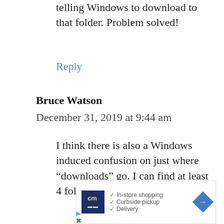telling Windows to download to that folder. Problem solved!
Reply
Bruce Watson
December 31, 2019 at 9:44 am
I think there is also a Windows induced confusion on just where “downloads” go. I can find at least 4 folders in my Directory named
[Figure (other): Advertisement banner with cm logo, checkmarks listing In-store shopping, Curbside pickup, Delivery, and a blue diamond arrow icon]